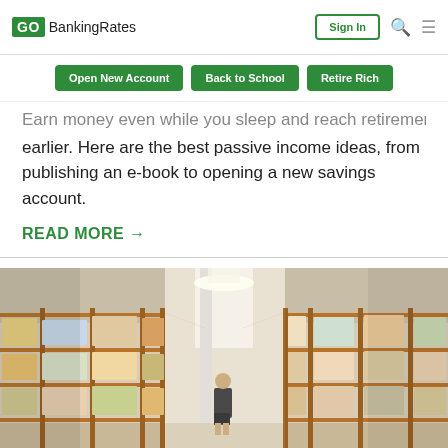GOBankingRates | Sign In
Open New Account | Back to School | Retire Rich
Earn money even while you sleep and reach retirement earlier. Here are the best passive income ideas, from publishing an e-book to opening a new savings account.
READ MORE →
[Figure (photo): Interior of a warehouse store with tall shelving aisles stocked with bulk goods and boxes; a person is visible walking down the center aisle.]